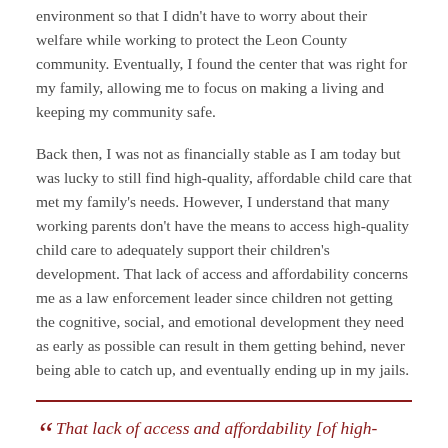environment so that I didn't have to worry about their welfare while working to protect the Leon County community. Eventually, I found the center that was right for my family, allowing me to focus on making a living and keeping my community safe.
Back then, I was not as financially stable as I am today but was lucky to still find high-quality, affordable child care that met my family's needs. However, I understand that many working parents don't have the means to access high-quality child care to adequately support their children's development. That lack of access and affordability concerns me as a law enforcement leader since children not getting the cognitive, social, and emotional development they need as early as possible can result in them getting behind, never being able to catch up, and eventually ending up in my jails.
“That lack of access and affordability [of high-quality child care] concerns me as a law enforcement leader...